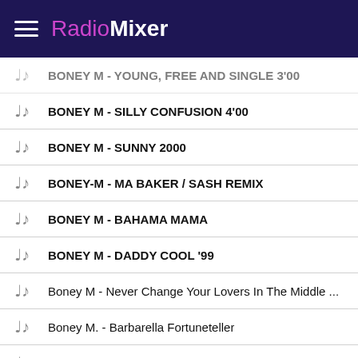RadioMixer
BONEY M - YOUNG, FREE AND SINGLE 3'00 (partial)
BONEY M - SILLY CONFUSION 4'00
BONEY M - SUNNY 2000
BONEY-M - MA BAKER / Sash remix
BONEY M - BAHAMA MAMA
BONEY M - DADDY COOL '99
Boney M - Never Change Your Lovers In The Middle ...
Boney M. - Barbarella Fortuneteller
Boney M - Bahama
Boney M - Rasputin 2020